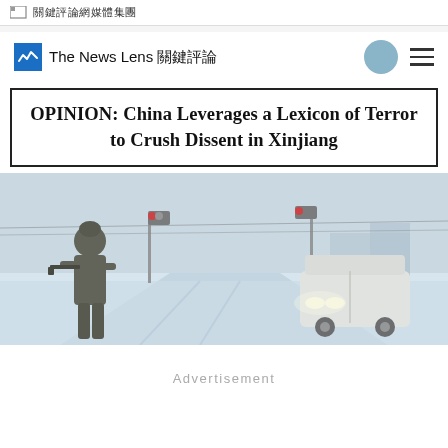關鍵評論網媒體集團
The News Lens 關鍵評論
OPINION: China Leverages a Lexicon of Terror to Crush Dissent in Xinjiang
[Figure (photo): An armed soldier in military gear standing on a snow-covered road, with a white SUV with headlights on approaching from the right. Traffic lights and poles visible in the background.]
Advertisement